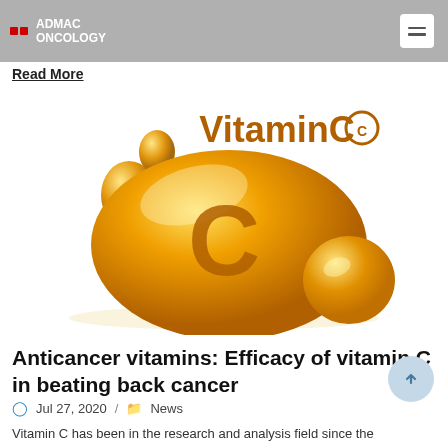ADMAC ONCOLOGY
Read More
[Figure (illustration): Golden/amber glossy Vitamin C capsule drops illustration with large 'C' letter and text 'VitaminC' in brown/orange on a white background]
Anticancer vitamins: Efficacy of vitamin C in beating back cancer
Jul 27, 2020  /  News
Vitamin C has been in the research and analysis field since the